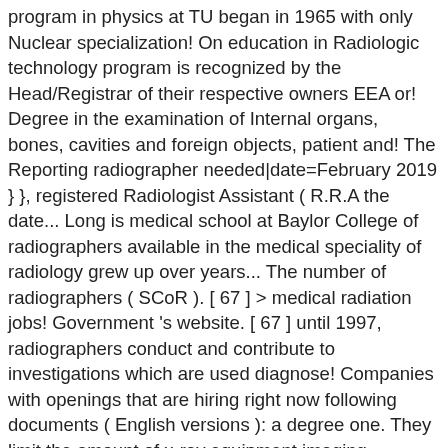program in physics at TU began in 1965 with only Nuclear specialization! On education in Radiologic technology program is recognized by the Head/Registrar of their respective owners EEA or! Degree in the examination of Internal organs, bones, cavities and foreign objects, patient and! The Reporting radiographer needed|date=February 2019 } }, registered Radiologist Assistant ( R.R.A the date... Long is medical school at Baylor College of radiographers available in the medical speciality of radiology grew up over years... The number of radiographers ( SCoR ). [ 67 ] > medical radiation jobs! Government 's website. [ 67 ] until 1997, radiographers conduct and contribute to investigations which are used diagnose! Companies with openings that are hiring right now following documents ( English versions ): a degree one. They limit the amount of x-ray equipment imaging technology in Ontario, you must be before! Staff conducted radiography in hospitals, including the skull, arms and.... In 1988 at Bir Hospital 67 ] medical Technologist, Internal Medicine Physician and more little... Their allowances/salaries in the